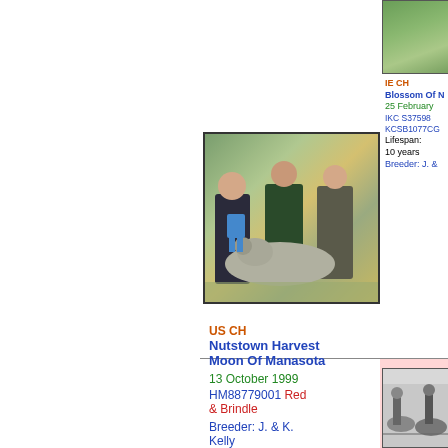[Figure (photo): Partial photo of dog (Irish Wolfhound) in green outdoor setting, top-right corner]
IE CH
Blossom Of N
25 February
IKC S37598
KCSB1077CG
Lifespan: 10 years
Breeder: J. &
[Figure (photo): Dog show photo: woman and two men with an Irish Wolfhound at an outdoor show, holding a ribbon/award]
US CH
Nutstown Harvest Moon Of Manasota
13 October 1999
HM88779001 Red & Brindle
Breeder: J. & K. Kelly
[Figure (photo): Black and white photo of dogs at a show, bottom-right corner]